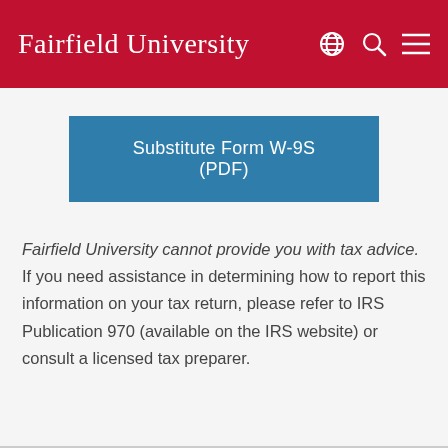Fairfield University
Substitute Form W-9S (PDF)
Fairfield University cannot provide you with tax advice. If you need assistance in determining how to report this information on your tax return, please refer to IRS Publication 970 (available on the IRS website) or consult a licensed tax preparer.